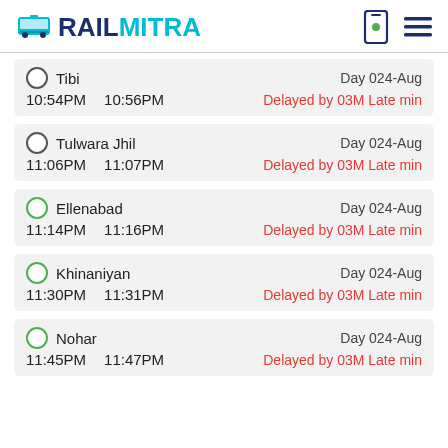RAILMITRA
Tibi | Day 024-Aug | 10:54PM 10:56PM | Delayed by 03M Late min
Tulwara Jhil | Day 024-Aug | 11:06PM 11:07PM | Delayed by 03M Late min
Ellenabad | Day 024-Aug | 11:14PM 11:16PM | Delayed by 03M Late min
Khinaniyan | Day 024-Aug | 11:30PM 11:31PM | Delayed by 03M Late min
Nohar | Day 024-Aug | 11:45PM 11:47PM | Delayed by 03M Late min